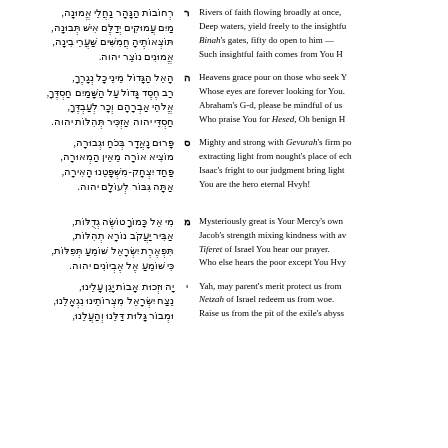רְחוֹבוֹת הַנָּהָר נַחֲלֵי אֱמוּנָה, מַיִם עֲמוּקִים יְדַלֶּם אִישׁ תְּבוּנָה, תּוֹצְאוֹתֶיהָ חֲמִשִּׁים שַׁעֲרֵי בִינָה, אֱמוּנִים נוֹצֵר יהוה.
ר Rivers of faith flowing broadly at once, Deep waters, yield freely to the insightful. Binah's gates, fifty do open to him — Such insightful faith comes from You H
הָאֵל הַגָּדוֹל מֵינֵי כָל נְגָרֶךָ, רַב חֶסֶד גָּדוֹל עַל הַשָּׁמַיִם חַסְדֶּךָ, אֱלֹהֵי אַבְרָהָם וְכָר לְעַבְדֶּךָ, חַסְדֵּי יהוה אַזְכִּיר תְּהִלּוֹת יהוה.
ה Heavens grace pour on those who seek Y Whose eyes are forever looking for You. Abraham's G-d, please be mindful of us Who praise You for Hesed, Oh benign H
פָּרוּם נָאֲדָר בְּכֹחַ וּגְבוּרָה, מוֹצִיא אוֹרָה מֵאֵין הַמְאוּרָה, פַּחַד יִצְחָק-מִשְׁפָּטֵנוּ הָאִירָה, אַתָּה גִּבּוֹר לְעוֹלָם יהוה.
ס Mighty and strong with Gevurah's firm pow extracting light from nought's place of exch Isaac's fright to our judgment bring light You are the hero eternal Hvyh!
מִי אֵל כָּמוֹךָ טוֹשֶׂה גְדֻלּוֹת, אַבִּיר יַעֲקֹב נוֹרָא תְהִלּוֹת, תִּפְאֶרֶת יִשְׂרָאֵל שׁוֹמֵעַ תְּפִלּוֹת, כִּי שׁוֹמֵעַ אֶל אֶבְיוֹנִים יהוה.
מ Mysteriously great is Your Mercy's own Jacob's strength mixing kindness with av Tiferet of Israel You hear our prayer. Who else hears the poor except You Hvy
יָה וּזְכוּת אָבוֹת יָגֵן עָלֵינוּ, נֵצַח יִשְׂרָאֵל מִצְרוֹתֵינוּ נִגְאָלֵנוּ, וּמְבוֹר גָּלוּת דַּלֵּנוּ וְהַעֲלֵנוּ,
י Yah, may parent's merit protect us from Netzah of Israel redeem us from woe. Raise us from the pit of the exile's abyss